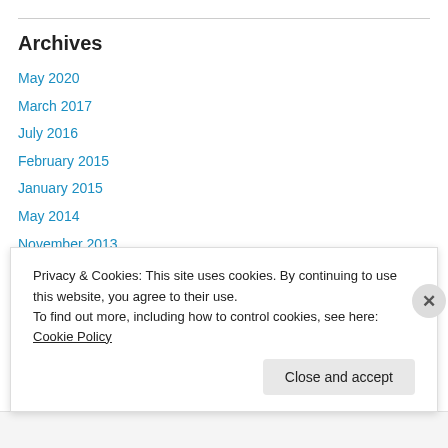Archives
May 2020
March 2017
July 2016
February 2015
January 2015
May 2014
November 2013
August 2013
July 2013
Privacy & Cookies: This site uses cookies. By continuing to use this website, you agree to their use.
To find out more, including how to control cookies, see here: Cookie Policy
Close and accept